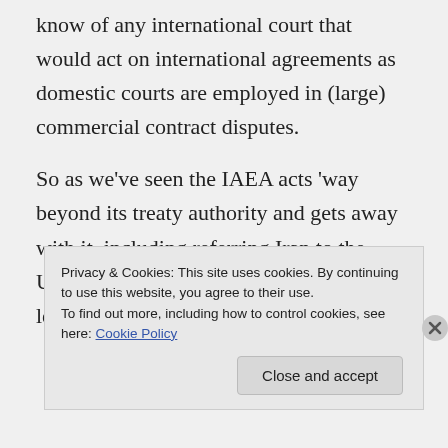know of any international court that would act on international agreements as domestic courts are employed in (large) commercial contract disputes.
So as we've seen the IAEA acts 'way beyond its treaty authority and gets away with it, including referring Iran to the UNSC which acts as a court. What's the legal authority for
Privacy & Cookies: This site uses cookies. By continuing to use this website, you agree to their use.
To find out more, including how to control cookies, see here: Cookie Policy